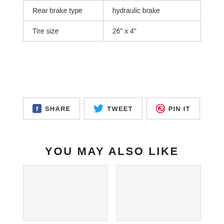| Rear brake type | hydraulic brake |
| Tire size | 26" x 4" |
SHARE  TWEET  PIN IT
YOU MAY ALSO LIKE
[Figure (other): Product image placeholder card (left)]
[Figure (other): Product image placeholder card (right)]